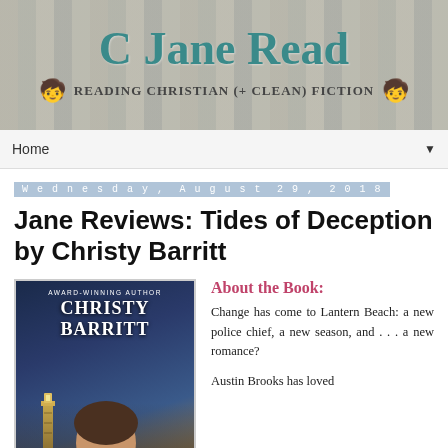[Figure (illustration): Blog header banner with teal title 'C Jane Read' and subtitle 'Reading Christian (+ Clean) Fiction' on a book-shelf background, with two small reading emoji characters on either side of the subtitle.]
Home ▼
Wednesday, August 29, 2018
Jane Reviews: Tides of Deception by Christy Barritt
[Figure (illustration): Book cover for Tides of Deception by Christy Barritt. Shows a man's face with stormy sky and lighthouse in background. Text reads 'Award-Winning Author Christy Barritt'.]
About the Book:
Change has come to Lantern Beach: a new police chief, a new season, and . . . a new romance?
Austin Brooks has loved